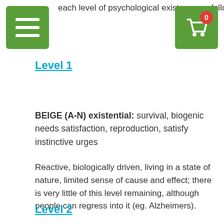each level of psychological existence as follows:
Level 1
BEIGE (A-N) existential: survival, biogenic needs satisfaction, reproduction, satisfy instinctive urges
Reactive, biologically driven, living in a state of nature, limited sense of cause and effect; there is very little of this level remaining, although people can regress into it (eg. Alzheimers).
Level 2